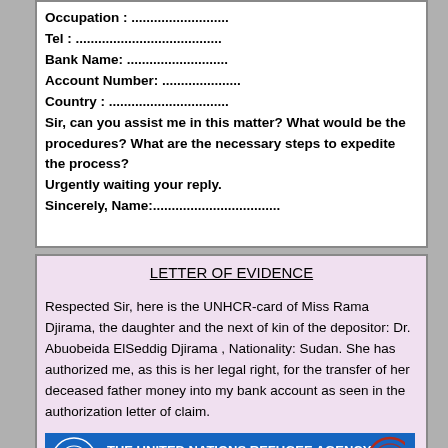Occupation : .......................... Tel : ........................................ Bank Name: ........................... Account Number: ..................... Country : ................................ Sir, can you assist me in this matter? What would be the procedures? What are the necessary steps to expedite the process? Urgently waiting your reply. Sincerely, Name:..................................
LETTER OF EVIDENCE
Respected Sir, here is the UNHCR-card of Miss Rama Djirama, the daughter and the next of kin of the depositor: Dr. Abuobeida ElSeddig Djirama , Nationality: Sudan. She has authorized me, as this is her legal right, for the transfer of her deceased father money into my bank account as seen in the authorization letter of claim.
[Figure (logo): THE UNITED NATIONS REFUGEE AGENCY banner with UNHCR logo and text IN COLLABORATION W... with a red stamp/seal partially visible]